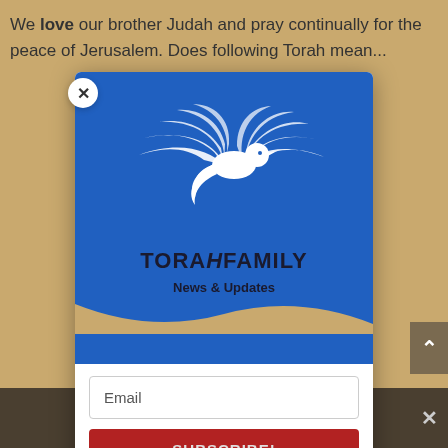We love our brother Judah and pray continually for the peace of Jerusalem. Does following Torah mean...
[Figure (logo): TorahFamily newsletter signup modal popup with a white dove logo on a blue background, showing brand name TORAHFAMILY, subtitle News & Updates, an email input field, and a SUBSCRIBE! button]
Share This